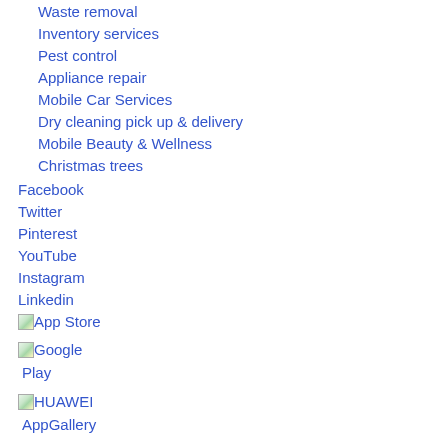Waste removal
Inventory services
Pest control
Appliance repair
Mobile Car Services
Dry cleaning pick up & delivery
Mobile Beauty & Wellness
Christmas trees
Facebook
Twitter
Pinterest
YouTube
Instagram
Linkedin
App Store
Google Play
HUAWEI AppGallery